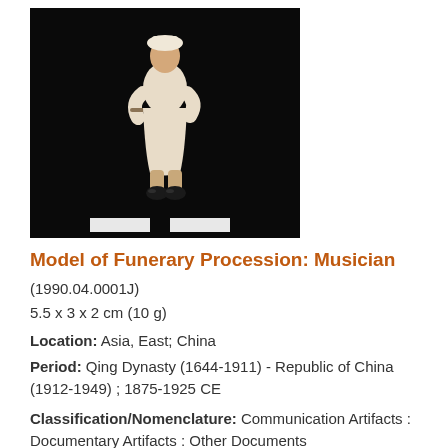[Figure (photo): A small ceramic figurine of a musician in white robes with dark shoes, photographed against a black background. The figure appears to be playing an instrument.]
Model of Funerary Procession: Musician
(1990.04.0001J)
5.5 x 3 x 2 cm (10 g)
Location: Asia, East; China
Period: Qing Dynasty (1644-1911) - Republic of China (1912-1949) ; 1875-1925 CE
Classification/Nomenclature: Communication Artifacts : Documentary Artifacts : Other Documents